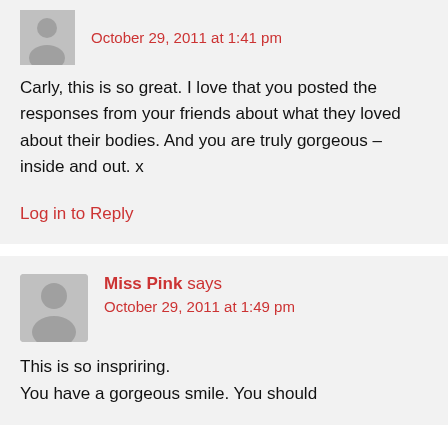October 29, 2011 at 1:41 pm
Carly, this is so great. I love that you posted the responses from your friends about what they loved about their bodies. And you are truly gorgeous – inside and out. x
Log in to Reply
Miss Pink says
October 29, 2011 at 1:49 pm
This is so inspriring.
You have a gorgeous smile. You should